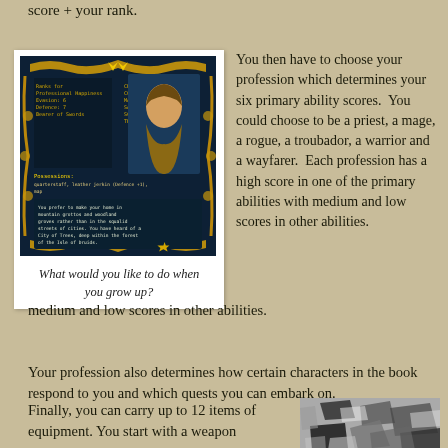score + your rank.
[Figure (screenshot): Game screenshot showing a character creation screen with stats like Combat, Magic, Dexterity, etc. and a character portrait. Possessions listed include quarterstaff, leather jerkin.]
What would you like to do when you grow up?
You then have to choose your profession which determines your six primary ability scores.  You could choose to be a priest, a mage, a rogue, a troubador, a warrior and a wayfarer.  Each profession has a high score in one of the primary abilities with medium and low scores in other abilities.
Your profession also determines how certain characters in the book respond to you and which quests you can embark on.
Finally, you can carry up to 12 items of equipment. You start with a weapon
[Figure (photo): Black and white photo showing scattered angular shapes or equipment items.]